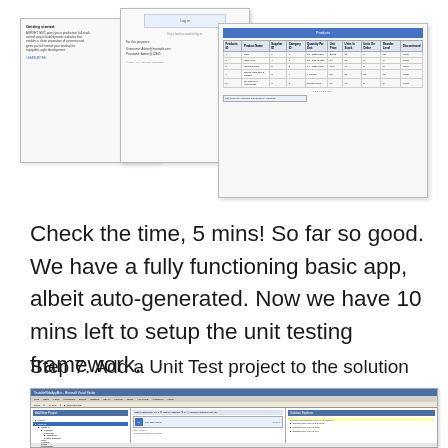[Figure (screenshot): Three overlapping screenshots showing a web application interface and data table]
Check the time, 5 mins! So far so good. We have a fully functioning basic app, albeit auto-generated. Now we have 10 mins left to setup the unit testing framework.
Step 7. Add a Unit Test project to the solution
[Figure (screenshot): Visual Studio IDE with Add New Project dialog open, showing Unit Test Project template selected, and Solution Explorer visible]